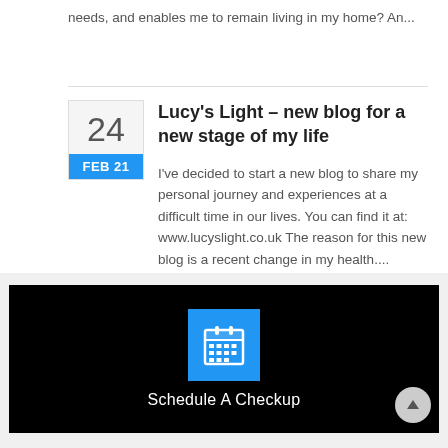needs, and enables me to remain living in my home? An...
Lucy's Light – new blog for a new stage of my life
I've decided to start a new blog to share my personal journey and experiences at a difficult time in our lives. You can find it at: www.lucyslight.co.uk The reason for this new blog is a recent change in my health....
[Figure (infographic): Black banner with blue calendar icon and text 'Schedule A Checkup']